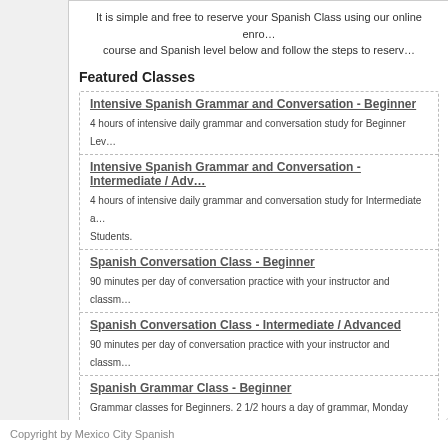It is simple and free to reserve your Spanish Class using our online enrollment system. Select your course and Spanish level below and follow the steps to reserve your class.
Featured Classes
Intensive Spanish Grammar and Conversation - Beginner
4 hours of intensive daily grammar and conversation study for Beginner Level Students.
Intensive Spanish Grammar and Conversation - Intermediate / Advanced
4 hours of intensive daily grammar and conversation study for Intermediate and Advanced Students.
Spanish Conversation Class - Beginner
90 minutes per day of conversation practice with your instructor and classmates.
Spanish Conversation Class - Intermediate / Advanced
90 minutes per day of conversation practice with your instructor and classmates.
Spanish Grammar Class - Beginner
Grammar classes for Beginners. 2 1/2 hours a day of grammar, Monday through Friday.
Spanish Grammar Class - Intermediate / Advanced
Grammar classes for Intermediate and Advanced students. 2 1/2 hours a day of grammar, Monday through Friday.
Copyright by Mexico City Spanish